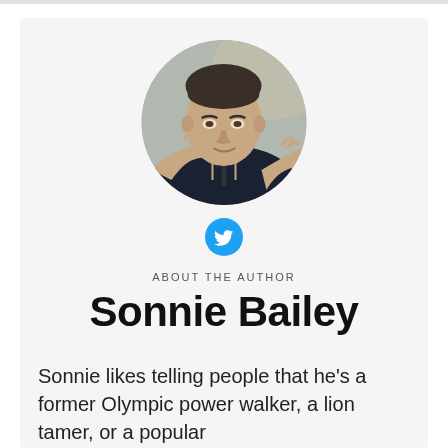[Figure (photo): Circular profile photo of a man making a gesture with his hands, wearing a dark sleeveless top, photographed against a neutral background.]
[Figure (logo): Twitter bird icon in white on a cyan/light blue circular background.]
ABOUT THE AUTHOR
Sonnie Bailey
Sonnie likes telling people that he's a former Olympic power walker, a lion tamer, or a popular